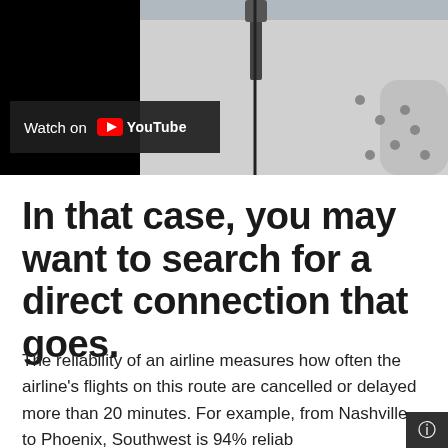[Figure (screenshot): Screenshot of a YouTube video embedded on a webpage, showing an airplane wing viewed from a window seat. The left portion of the video is a black area. Overlaid at the bottom left is a 'Watch on YouTube' badge with the YouTube logo.]
In that case, you may want to search for a direct connection that goes.
The reliability of an airline measures how often the airline's flights on this route are cancelled or delayed more than 20 minutes. For example, from Nashville to Phoenix, Southwest is 94% reliable, which means that Southwest flights are on time 94% of the ti…